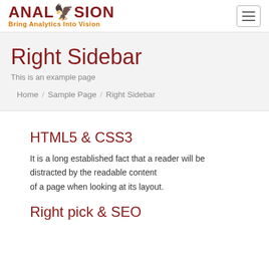ANALYSION | Bring Analytics Into Vision
Right Sidebar
This is an example page
Home / Sample Page / Right Sidebar
HTML5 & CSS3
It is a long established fact that a reader will be distracted by the readable content of a page when looking at its layout.
Right pick & SEO